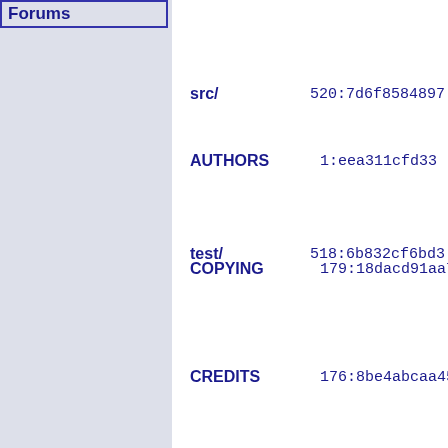Forums
src/    520:7d6f8584897
test/   518:6b832cf6bd3
AUTHORS   1:eea311cfd33
COPYING   179:18dacd91aa7
CREDITS   176:8be4abcaa45